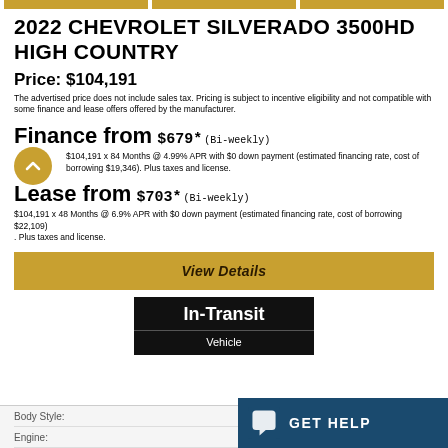2022 CHEVROLET SILVERADO 3500HD HIGH COUNTRY
Price: $104,191
The advertised price does not include sales tax. Pricing is subject to incentive eligibility and not compatible with some finance and lease offers offered by the manufacturer.
Finance from $679* (Bi-weekly)
$104,191 x 84 Months @ 4.99% APR with $0 down payment (estimated financing rate, cost of borrowing $19,346). Plus taxes and license.
Lease from $703* (Bi-weekly)
$104,191 x 48 Months @ 6.9% APR with $0 down payment (estimated financing rate, cost of borrowing $22,109)
. Plus taxes and license.
View Details
[Figure (infographic): Black banner with 'In-Transit' in large white bold text and 'Vehicle' below in smaller white text]
Body Style:
Engine: